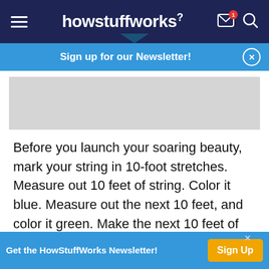howstuffworks
Sign up for our Newsletter!
[Figure (other): Grey advertisement placeholder rectangle]
Before you launch your soaring beauty, mark your string in 10-foot stretches. Measure out 10 feet of string. Color it blue. Measure out the next 10 feet, and color it green. Make the next 10 feet of string red.
Keep going with as much of the string as you have
[Figure (other): Bottom advertisement banner: Get the HowStuffWorks Newsletter! with Sign Up button]